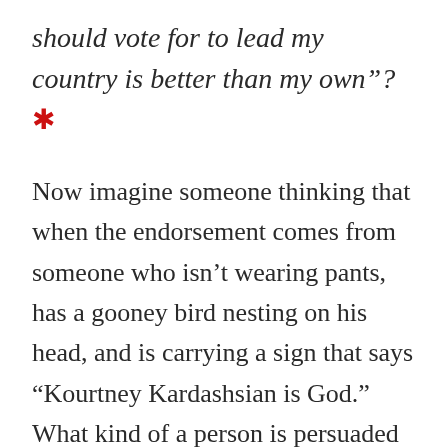should vote for to lead my country is better than my own"?*
Now imagine someone thinking that when the endorsement comes from someone who isn't wearing pants, has a gooney bird nesting on his head, and is carrying a sign that says “Kourtney Kardashsian is God.” What kind of a person is persuaded by that fool’s presidential choice? Yet Ben Carson, with his incredulity about endorsements